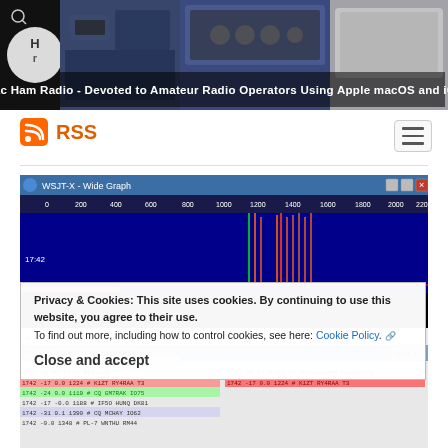[Figure (screenshot): Mac Ham Radio website header banner showing ham radio equipment collage with text: Mac Ham Radio - Devoted to Amateur Radio Operators Using Apple macOS and iOS]
RSS
[Figure (screenshot): WSJT-X Wide Graph spectrum waterfall display showing FT8 signals with frequency scale 0-2200 Hz]
Privacy & Cookies: This site uses cookies. By continuing to use this website, you agree to their use.
To find out more, including how to control cookies, see here: Cookie Policy.
Close and accept